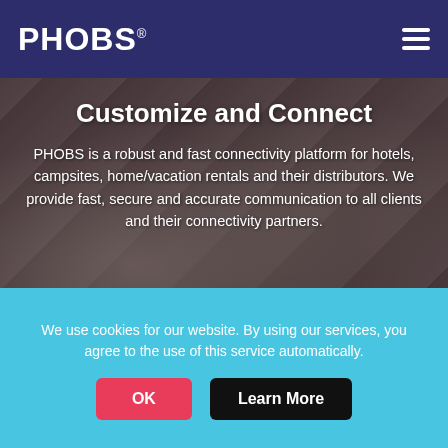PHOBS
Customize and Connect
PHOBS is a robust and fast connectivity platform for hotels, campsites, home/vacation rentals and their distributors. We provide fast, secure and accurate communication to all clients and their connectivity partners.
Scroll
We use cookies for our website. By using our services, you agree to the use of this service automatically.